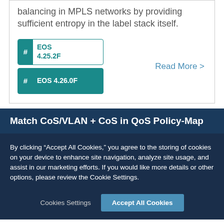balancing in MPLS networks by providing sufficient entropy in the label stack itself.
# EOS 4.25.2F
# EOS 4.26.0F
Read More >
Match CoS/VLAN + CoS in QoS Policy-Map
By clicking “Accept All Cookies,” you agree to the storing of cookies on your device to enhance site navigation, analyze site usage, and assist in our marketing efforts. If you would like more details or other options, please review the Cookie Settings.
Cookies Settings
Accept All Cookies